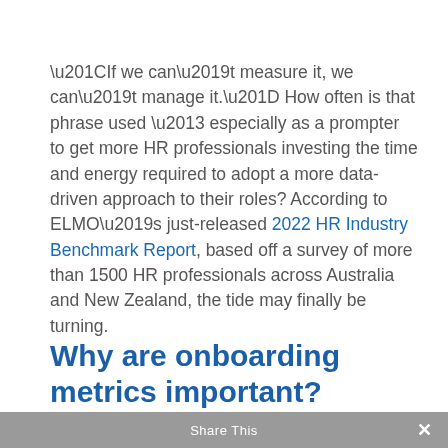“If we can’t measure it, we can’t manage it.” How often is that phrase used – especially as a prompter to get more HR professionals investing the time and energy required to adopt a more data-driven approach to their roles? According to ELMO’s just-released 2022 HR Industry Benchmark Report, based off a survey of more than 1500 HR professionals across Australia and New Zealand, the tide may finally be turning.
Why are onboarding metrics important?